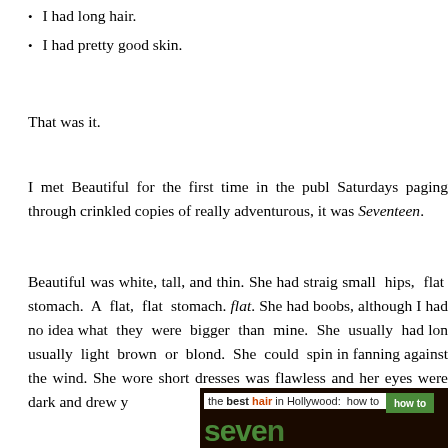I had long hair.
I had pretty good skin.
That was it.
I met Beautiful for the first time in the pub... Saturdays paging through crinkled copies of ... really adventurous, it was Seventeen.
Beautiful was white, tall, and thin. She had straig... small hips, flat stomach. A flat, flat stomach. flat. She had boobs, although I had no idea what ... they were bigger than mine. She usually had lon... usually light brown or blond. She could spin in... fanning against the wind. She wore short dresses... was flawless and her eyes were dark and drew y...
[Figure (photo): Cropped magazine cover of Seventeen magazine showing 'the best hair in Hollywood: how to' text with a green tab and the Seventeen logo in green text.]